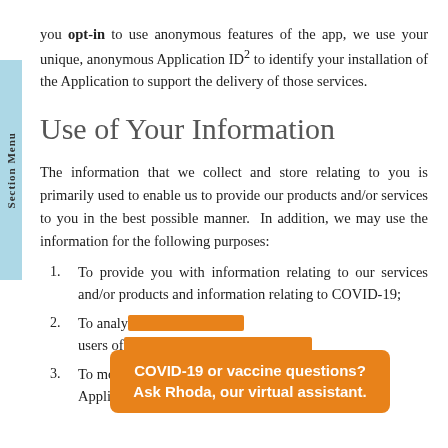you opt-in to use anonymous features of the app, we use your unique, anonymous Application ID² to identify your installation of the Application to support the delivery of those services.
Use of Your Information
The information that we collect and store relating to you is primarily used to enable us to provide our products and/or services to you in the best possible manner.  In addition, we may use the information for the following purposes:
To provide you with information relating to our services and/or products and information relating to COVID-19;
To analy[ze...] users of [...]
To monitor and conduct an analysis of the Application traffic and usage patterns;
COVID-19 or vaccine questions? Ask Rhoda, our virtual assistant.